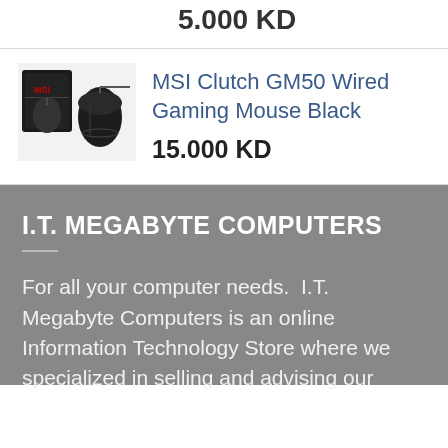5.000 KD
[Figure (photo): MSI Clutch GM50 gaming mouse product photo with box, black mouse with red MSI branding]
MSI Clutch GM50 Wired Gaming Mouse Black
15.000 KD
I.T. MEGABYTE COMPUTERS
For all your computer needs.  I.T. Megabyte Computers is an online Information Technology Store where we specialized in selling and advising our